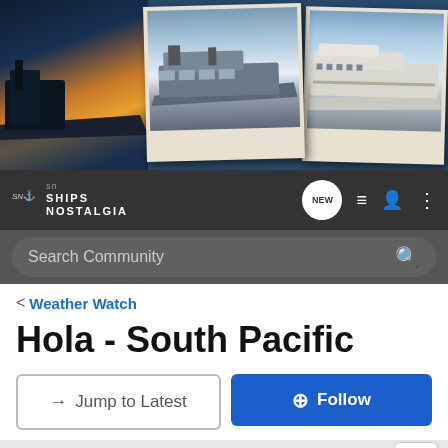[Figure (screenshot): Ships Nostalgia website header with banner photos of ships and navigation bar with search]
Weather Watch
Hola - South Pacific
→ Jump to Latest
+ Follow
Not open for further replies.
1 - 10 of 10 Posts